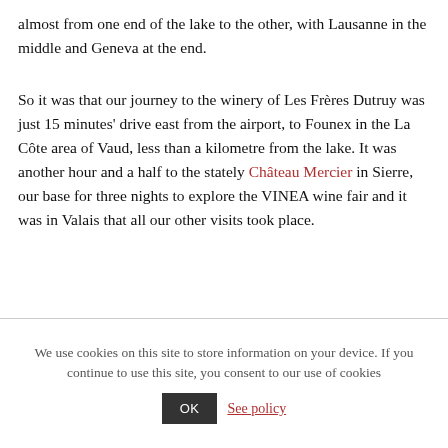almost from one end of the lake to the other, with Lausanne in the middle and Geneva at the end.
So it was that our journey to the winery of Les Frères Dutruy was just 15 minutes' drive east from the airport, to Founex in the La Côte area of Vaud, less than a kilometre from the lake. It was another hour and a half to the stately Château Mercier in Sierre, our base for three nights to explore the VINEA wine fair and it was in Valais that all our other visits took place.
We use cookies on this site to store information on your device. If you continue to use this site, you consent to our use of cookies   OK   See policy